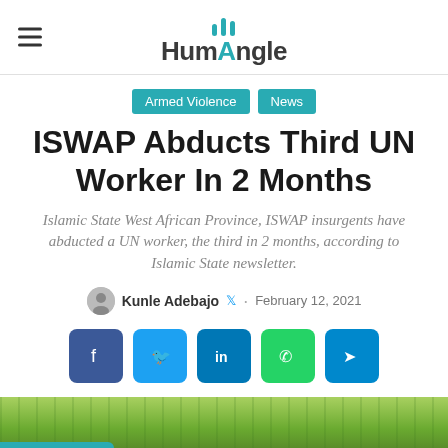HumAngle
Armed Violence · News
ISWAP Abducts Third UN Worker In 2 Months
Islamic State West African Province, ISWAP insurgents have abducted a UN worker, the third in 2 months, according to Islamic State newsletter.
Kunle Adebajo · February 12, 2021
[Figure (infographic): Social share buttons: Facebook, Twitter, LinkedIn, WhatsApp, Telegram]
[Figure (photo): Outdoor photo with trees and building, with Translate button overlay]